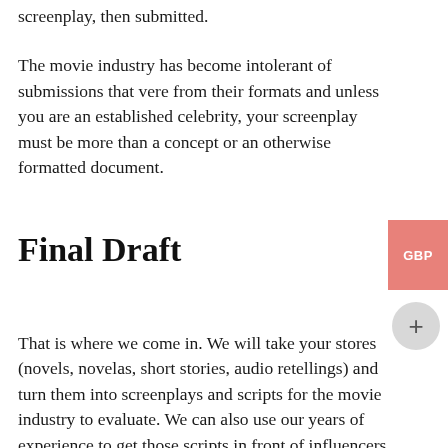screenplay, then submitted.
The movie industry has become intolerant of submissions that vere from their formats and unless you are an established celebrity, your screenplay must be more than a concept or an otherwise formatted document.
Final Draft
That is where we come in. We will take your stores (novels, novelas, short stories, audio retellings) and turn them into screenplays and scripts for the movie industry to evaluate. We can also use our years of experience to get those scripts in front of influencers, so your story has a chance to be made into a film.
Services